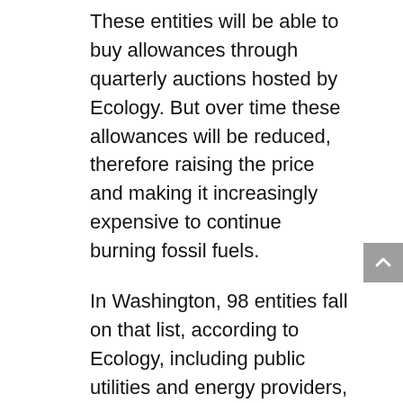These entities will be able to buy allowances through quarterly auctions hosted by Ecology. But over time these allowances will be reduced, therefore raising the price and making it increasingly expensive to continue burning fossil fuels.
In Washington, 98 entities fall on that list, according to Ecology, including public utilities and energy providers, power plants, paper mills and oil refineries throughout the state.
Smaller “opt-in” entities and individuals